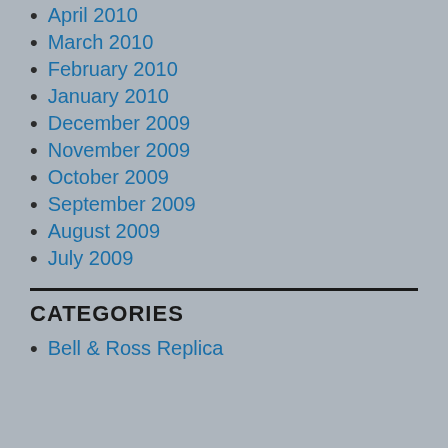April 2010
March 2010
February 2010
January 2010
December 2009
November 2009
October 2009
September 2009
August 2009
July 2009
CATEGORIES
Bell & Ross Replica